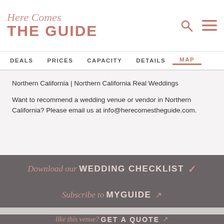Here Comes THE GUIDE
DEALS | PRICES | CAPACITY | DETAILS | MAP
Northern California | Northern California Real Weddings
Want to recommend a wedding venue or vendor in Northern California? Please email us at info@herecomestheguide.com.
Download our WEDDING CHECKLIST ✓
Subscribe to MYGUIDE ↗
like this venue? GET A QUOTE ↗